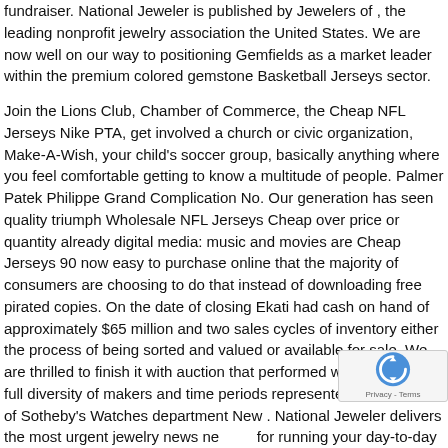fundraiser. National Jeweler is published by Jewelers of , the leading nonprofit jewelry association the United States. We are now well on our way to positioning Gemfields as a market leader within the premium colored gemstone Basketball Jerseys sector.
Join the Lions Club, Chamber of Commerce, the Cheap NFL Jerseys Nike PTA, get involved a church or civic organization, Make-A-Wish, your child's soccer group, basically anything where you feel comfortable getting to know a multitude of people. Palmer Patek Philippe Grand Complication No. Our generation has seen quality triumph Wholesale NFL Jerseys Cheap over price or quantity already digital media: music and movies are Cheap Jerseys 90 now easy to purchase online that the majority of consumers are choosing to do that instead of downloading free pirated copies. On the date of closing Ekati had cash on hand of approximately $65 million and two sales cycles of inventory either the process of being sorted and valued or available for sale. We are thrilled to finish it with auction that performed well across the full diversity of makers and time periods represented, said , head of Sotheby's Watches department New . National Jeweler delivers the most urgent jewelry news ne for running your day-to-day jewelry business here, and via e-newsletter, Wholesale NFL Jerseys Cheap website and c Cheap NFL Jerseys Nike specialty publications, such as The State of